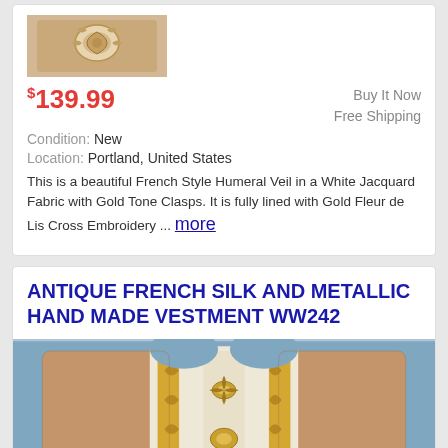[Figure (photo): Partial view of embroidered vestment/humeral veil with gold floral embroidery on white fabric with gold clasps]
$139.99
Buy It Now
Free Shipping
Condition: New
Location: Portland, United States
This is a beautiful French Style Humeral Veil in a White Jacquard Fabric with Gold Tone Clasps. It is fully lined with Gold Fleur de Lis Cross Embroidery ... more
ANTIQUE FRENCH SILK AND METALLIC HAND MADE VESTMENT WW242
[Figure (photo): Antique French silk and metallic handmade vestment laid flat, showing gold and white floral embroidery pattern on front panels with brown/tan lining visible]